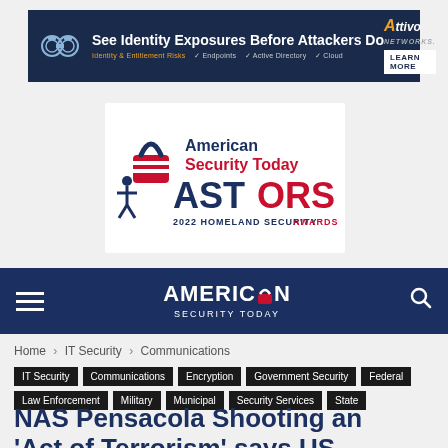[Figure (illustration): Attivo Networks advertisement banner: dark navy background with binoculars icon, headline 'See Identity Exposures Before Attackers Do', subtext about Identity & Entitlement Risks, Endpoints, Active Directory, Cloud, and Attivo Networks logo with Learn More button]
[Figure (logo): American Security Today ASTORS 2022 Homeland Security Awards logo: padlock with American flag design, person figure, red and blue text]
AMERICAN SECURITY TODAY (navigation bar with hamburger menu and search icon)
Home › IT Security › Communications
IT Security   Communications   Encryption   Government Security   Federal   Law Enforcement   Military   Municipal   Security Services   State
NAS Pensacola Shooting an 'Act of Terrorism' says US